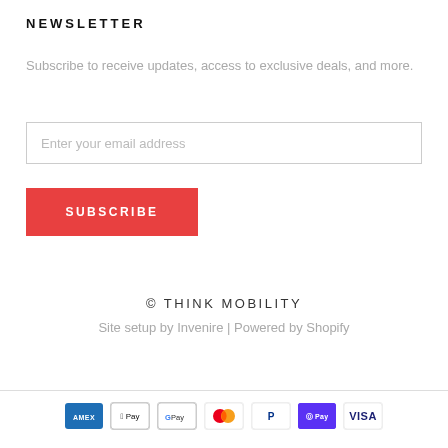NEWSLETTER
Subscribe to receive updates, access to exclusive deals, and more.
Enter your email address
SUBSCRIBE
© THINK MOBILITY
Site setup by Invenire | Powered by Shopify
[Figure (other): Payment method icons: American Express, Apple Pay, Google Pay, Mastercard, PayPal, Shop Pay, Visa]